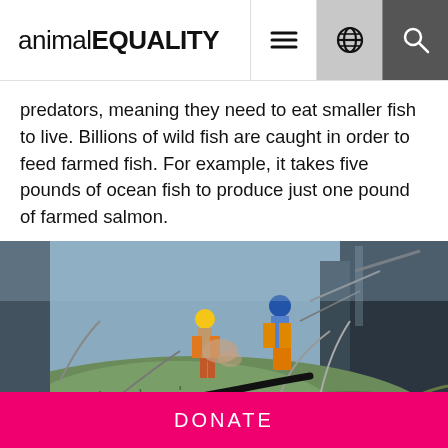animalEQUALITY
predators, meaning they need to eat smaller fish to live. Billions of wild fish are caught in order to feed farmed fish. For example, it takes five pounds of ocean fish to produce just one pound of farmed salmon.
[Figure (photo): Fishermen working on a large fishing vessel, standing on a massive haul of green fishing nets filled with fish, with the ocean visible in the background.]
DONATE